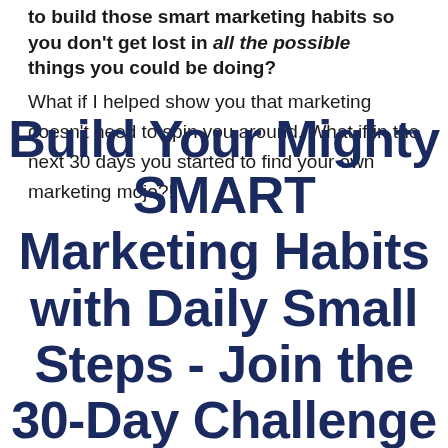to build those smart marketing habits so you don't get lost in all the possible things you could be doing? What if I helped show you that marketing doesn't need to spin you around. What if in the next 30 days you started to find your own marketing mojo?!
Build Your Mighty SMART Marketing Habits with Daily Small Steps - Join the 30-Day Challenge